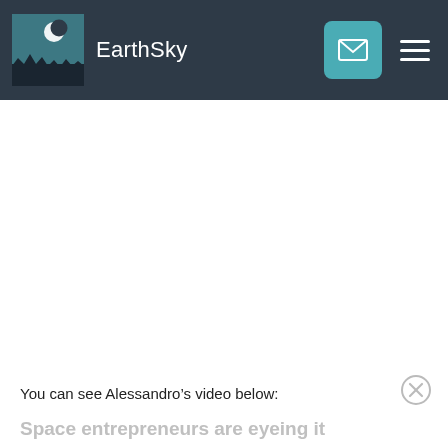EarthSky
[Figure (screenshot): EarthSky website navigation bar with logo (night sky scene with crescent moon), site name 'EarthSky', email envelope button in teal, and hamburger menu icon on dark navy background]
You can see Alessandro’s video below:
Space entrepreneurs are eyeing it